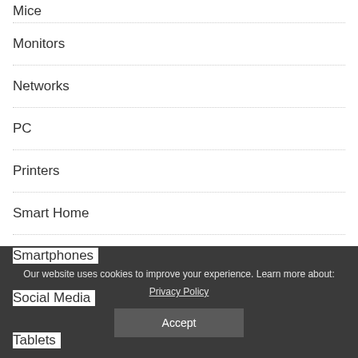Mice
Monitors
Networks
PC
Printers
Smart Home
Smartphones
Social Media
Tablets
Our website uses cookies to improve your experience. Learn more about:
Privacy Policy
Accept